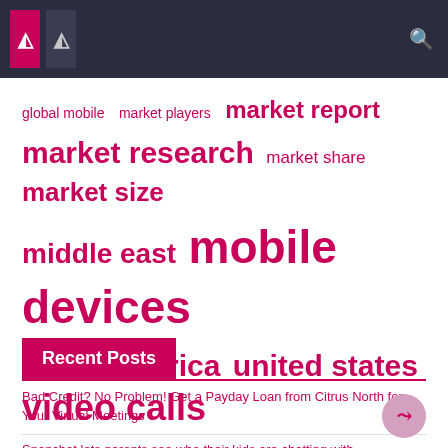[navigation bar with icons and search]
[Figure (other): Tag cloud with pink links of varying sizes: global mobile, market players, market report, market research, market share, market size, middle east, mobile devices, north america, united states, video calls]
Recent Posts
Bad Credit? No Problem! Get a Payday Loan from Citrus North for Your Virtual Meetings
Snapchat lets parents see who their kids are chatting with
Mobile Device Management Software Market Size, Scope, Growth Opportunities, Trends by Manufacturers and Forecast to 2029 – Instant